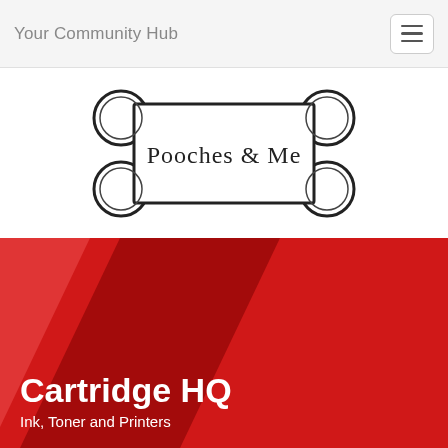Your Community Hub
[Figure (logo): Pooches & Me logo — dog bone shape outline with text 'Pooches & Me' inside]
[Figure (illustration): Cartridge HQ advertisement banner with red diagonal stripes on left, grey ink-drop watermarks on right, bold white text 'Cartridge HQ' and subtitle 'Ink, Toner and Printers']